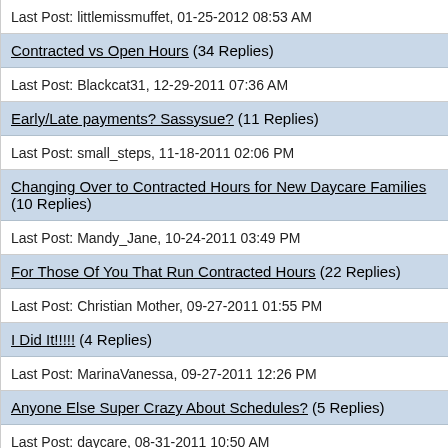Last Post: littlemissmuffet, 01-25-2012 08:53 AM
Contracted vs Open Hours (34 Replies)
Last Post: Blackcat31, 12-29-2011 07:36 AM
Early/Late payments? Sassysue? (11 Replies)
Last Post: small_steps, 11-18-2011 02:06 PM
Changing Over to Contracted Hours for New Daycare Families (10 Replies)
Last Post: Mandy_Jane, 10-24-2011 03:49 PM
For Those Of You That Run Contracted Hours (22 Replies)
Last Post: Christian Mother, 09-27-2011 01:55 PM
I Did It!!!!! (4 Replies)
Last Post: MarinaVanessa, 09-27-2011 12:26 PM
Anyone Else Super Crazy About Schedules? (5 Replies)
Last Post: daycare, 08-31-2011 10:50 AM
Contracted Hours (1 Replies)
Last Post: countrymom, 08-18-2011 05:47 AM
Contracted Hours, Showing Up Late, But DC Still Open? (38 Replies)
Last Post: SimpleMom, 06-03-2011 11:49 AM